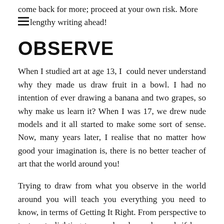come back for more; proceed at your own risk. More lengthy writing ahead!
OBSERVE
When I studied art at age 13, I could never understand why they made us draw fruit in a bowl. I had no intention of ever drawing a banana and two grapes, so why make us learn it? When I was 17, we drew nude models and it all started to make some sort of sense. Now, many years later, I realise that no matter how good your imagination is, there is no better teacher of art that the world around you!
Trying to draw from what you observe in the world around you will teach you everything you need to know, in terms of Getting It Right. From perspective to texture to lighting to sound and way beyond, if keep your senses open and really try to capture what you observe you will